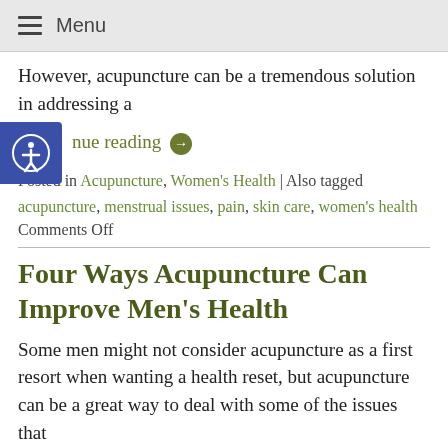Menu
However, acupuncture can be a tremendous solution in addressing a
Continue reading →
Posted in Acupuncture, Women's Health | Also tagged acupuncture, menstrual issues, pain, skin care, women's health Comments Off
Four Ways Acupuncture Can Improve Men's Health
Some men might not consider acupuncture as a first resort when wanting a health reset, but acupuncture can be a great way to deal with some of the issues that